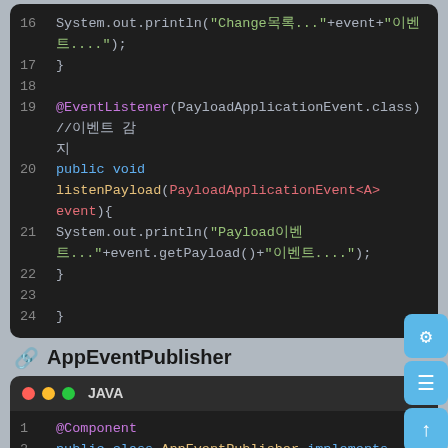[Figure (screenshot): Java code block showing lines 15-24 with EventListener and listenPayload method on dark background]
AppEventPublisher
[Figure (screenshot): Java code block showing AppEventPublisher class with @Component annotation, lines 1-2, on dark background with macOS-style titlebar]